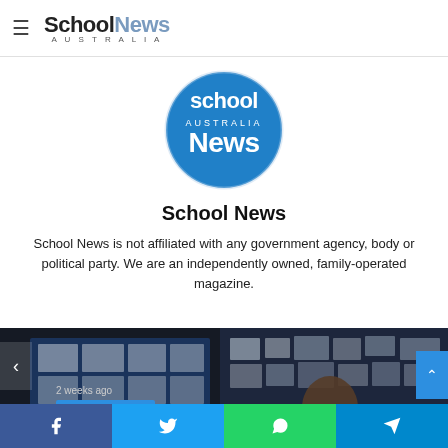School News Australia (navigation header)
[Figure (logo): School News Australia circular blue logo with white text]
School News
School News is not affiliated with any government agency, body or political party. We are an independently owned, family-operated magazine.
[Figure (photo): Dark classroom photo showing a teacher at a board with papers, with a blue 'Teacher's Desk' badge overlay and '2 weeks ago' timestamp]
Social sharing bar: Facebook, Twitter, WhatsApp, Telegram